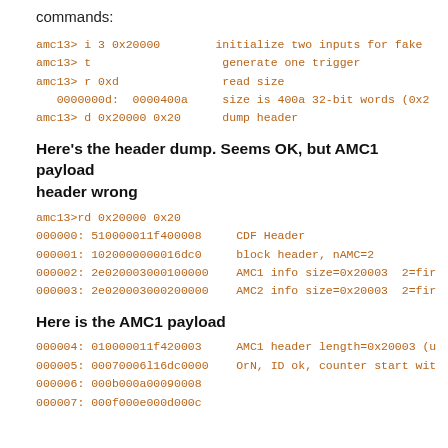commands:
amc13> i 3 0x20000        initialize two inputs for fake
amc13> t                   generate one trigger
amc13> r 0xd               read size
   0000000d:  0000400a     size is 400a 32-bit words (0x2
amc13> d 0x20000 0x20      dump header
Here's the header dump. Seems OK, but AMC1 payload header wrong
amc13>rd 0x20000 0x20
000000: 510000011f400008     CDF Header
000001: 1020000000016dc0     block header, nAMC=2
000002: 2e020003000100000    AMC1 info size=0x20003  2=fir
000003: 2e020003000200000    AMC2 info size=0x20003  2=fir
Here is the AMC1 payload
000004: 010000011f420003     AMC1 header length=0x20003 (u
000005: 00070006l16dc0000   OrN, ID ok, counter start wit
000006: 000b000a00090008
000007: 000f000e000d000c